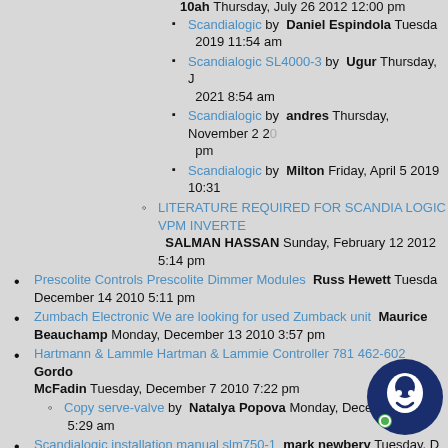Scandialogic by Daniel Espindola Tuesday, 2019 11:54 am
Scandialogic SL4000-3 by Ugur Thursday, J 2021 8:54 am
Scandialogic by andres Thursday, November 2 20 pm
Scandialogic by Milton Friday, April 5 2019 10:31
LITERATURE REQUIRED FOR SCANDIA LOGIC VPM INVERTE SALMAN HASSAN Sunday, February 12 2012 5:14 pm
Prescolite Controls Prescolite Dimmer Modules Russ Hewett Tuesday, December 14 2010 5:11 pm
Zumbach Electronic We are looking for used Zumback unit Maurice Beauchamp Monday, December 13 2010 3:57 pm
Hartmann & Lammle Hartman & Lammie Controller 781 462-602 Gordon McFadin Tuesday, December 7 2010 7:22 pm
Copy serve-valve by Natalya Popova Monday, December 5:29 am
Scandialogic installation manual slm750-1 mark newbery Tuesday, D 2010 3:31 pm
Monsun-Tison 3-SPOOL VALVE PORT IDENFICATION HARRY SMITH December 4 2010 7:58 pm
HV07-2 UK 921 by Kenneth Roy Friday, March 11 2011
Garbe Lahmeyer & Co Garbe Lahmeyer electric motor Magnetic Brake Re Davey Saturday, December 4 2010 9:10 am
BRAKE REPLACEMENT by Shipyard VIKT C RI CROATIA Thursday, December 16 2010 2
Frame de motor electrico by Heider Sulbaran Apr 9:21 pm
[Figure (illustration): Chat widget with dark blue circle, white face/avatar icon, and green online indicator dot]